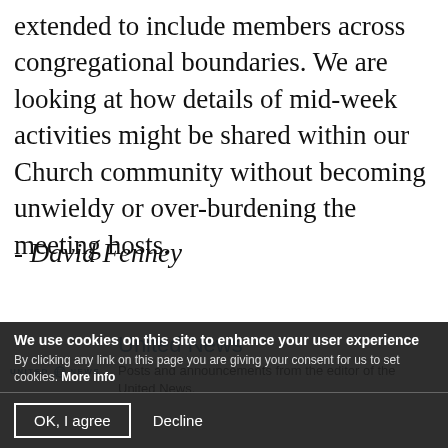extended to include members across congregational boundaries. We are looking at how details of mid-week activities might be shared within our Church community without becoming unwieldy or over-burdening the meeting hosts.
- David Fenney
United News
[Figure (logo): United News logo with globe icon]
Posts and announcements from the editor of the United News.
We use cookies on this site to enhance your user experience
By clicking any link on this page you are giving your consent for us to set cookies. More info